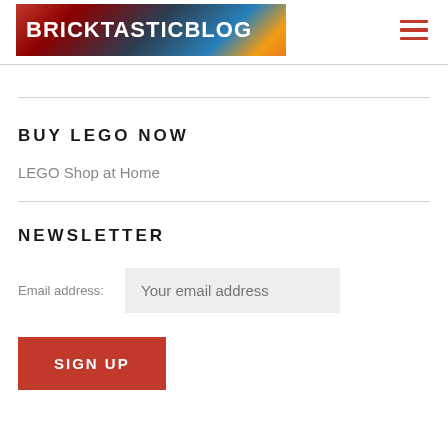BRICKTASTICBLOG
BUY LEGO NOW
LEGO Shop at Home
NEWSLETTER
Email address: Your email address
SIGN UP